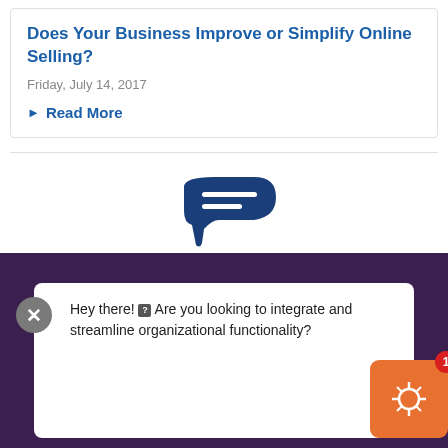Does Your Business Improve or Simplify Online Selling?
Friday, July 14, 2017
Read More
[Figure (logo): USPS blue eagle/speech-bubble logo mark, dark blue stylized swoosh shape]
[Figure (screenshot): Dark purple background section with white content area, chat bubble widget. Chat bubble shows close X button, message text 'Hey there! Are you looking to integrate and streamline organizational functionality?', arrow pointing right, and orange badge icon with notification badge showing '1'.]